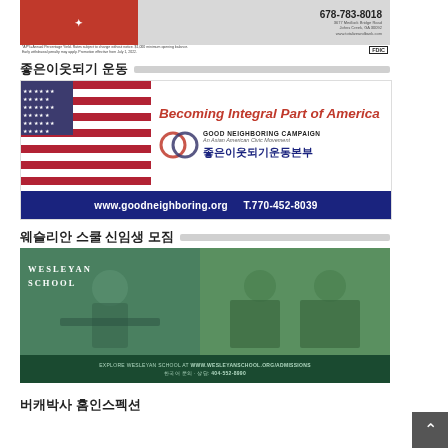[Figure (advertisement): Bank advertisement with red and gray background, phone number 678-783-8018, address and FDIC logo]
좋은이웃되기 운동
[Figure (advertisement): Good Neighboring Campaign ad - Becoming Integral Part of America, www.goodneighboring.org T.770-452-8039]
웨슬리안 스쿨 신임생 모짐
[Figure (advertisement): Wesleyan School admissions advertisement with students in classroom, website www.wesleyanschool.org/admissions, phone 404-552-8990]
버캐박사 홈인스펙션